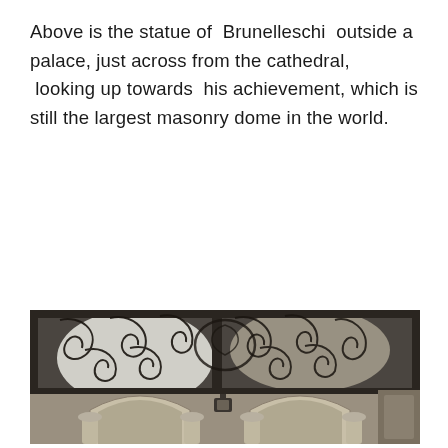Above is the statue of  Brunelleschi  outside a palace, just across from the cathedral,  looking up towards  his achievement, which is still the largest masonry dome in the world.
[Figure (photo): Photograph looking up at ornate wrought-iron scrollwork window grilles on an arched facade, with classical stone arches and columns visible below in the courtyard of a palace near the cathedral.]